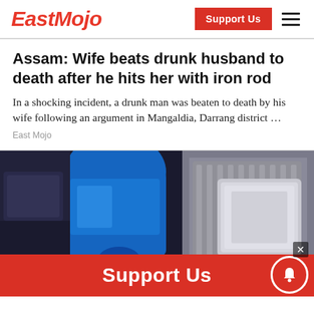EastMojo
Assam: Wife beats drunk husband to death after he hits her with iron rod
In a shocking incident, a drunk man was beaten to death by his wife following an argument in Mangaldia, Darrang district …
East Mojo
[Figure (photo): A blue bottle of motor oil being poured into a car engine, with golden oil flowing down onto engine components.]
Support Us